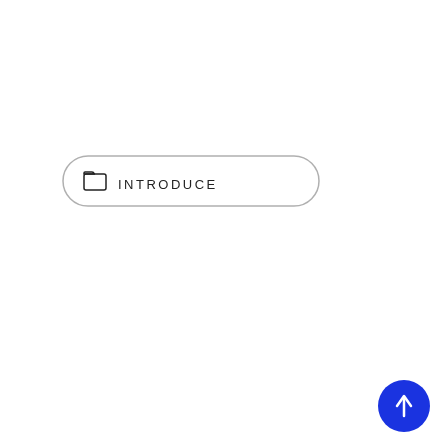[Figure (other): A rounded pill-shaped button with a folder icon on the left and the text 'INTRODUCE' in uppercase letters, outlined with a thin border on a white background.]
[Figure (other): A circular blue button in the bottom-right corner with a white upward-pointing arrow icon in the center.]